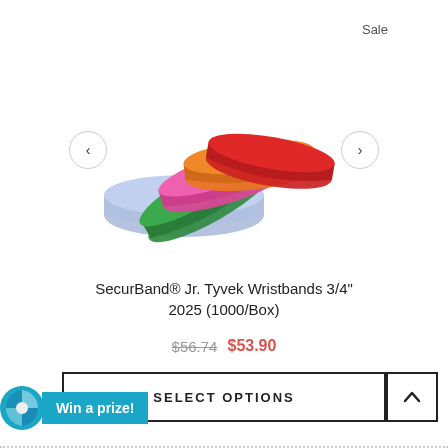Sale
[Figure (photo): Five colorful Tyvek wristbands fanned out — blue, green, pink, orange, and red — with left and right navigation arrows on either side.]
SecurBand® Jr. Tyvek Wristbands 3/4" 2025 (1000/Box)
$56.74  $53.90
SELECT OPTIONS
Win a prize!